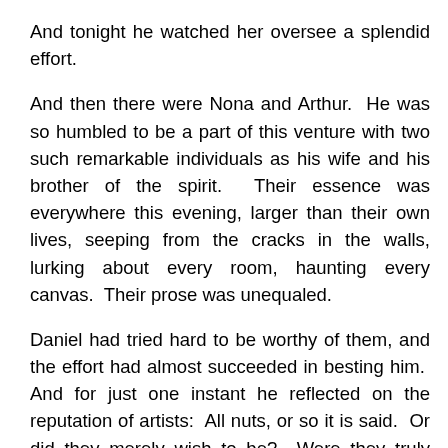And tonight he watched her oversee a splendid effort.
And then there were Nona and Arthur.  He was so humbled to be a part of this venture with two such remarkable individuals as his wife and his brother of the spirit.  Their essence was everywhere this evening, larger than their own lives, seeping from the cracks in the walls, lurking about every room, haunting every canvas.  Their prose was unequaled.
Daniel had tried hard to be worthy of them, and the effort had almost succeeded in besting him.  And for just one instant he reflected on the reputation of artists:  All nuts, or so it is said.  Or did they merely wish to be?  Were they truly incapable of connecting the dots of their sanity because they were too overloaded with resplendent fancy?  Or was it just irresistibly fashionable to be so left of